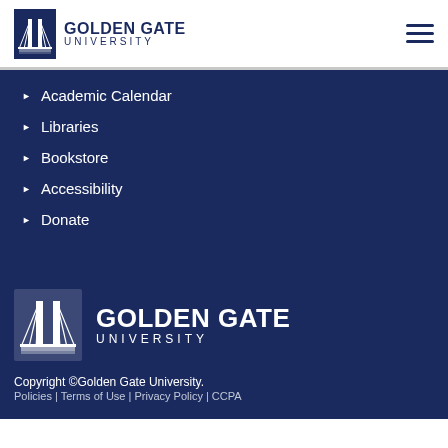[Figure (logo): Golden Gate University logo with bridge icon and text in navy blue]
Academic Calendar
Libraries
Bookstore
Accessibility
Donate
[Figure (logo): Golden Gate University footer logo with bridge icon and white text on navy background]
Copyright ©Golden Gate University.
Policies | Terms of Use | Privacy Policy | CCPA